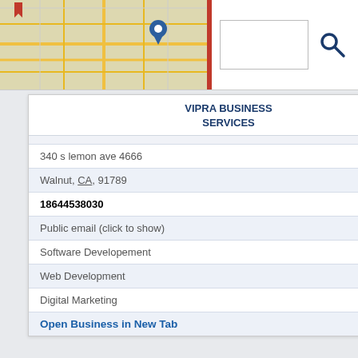[Figure (screenshot): Map thumbnail with location pin for Vipra Business Services]
VIPRA BUSINESS SERVICES
340 s lemon ave 4666
Walnut, CA, 91789
18644538030
Public email (click to show)
Software Developement
Web Development
Digital Marketing
Open Business in New Tab
[Figure (map): Map thumbnail with location pin for Virun Inc]
VIRUN, INC.
21118 Commerce Point Dr
Walnut, CA, 91789
9098390629
Vitamins Food Supplements